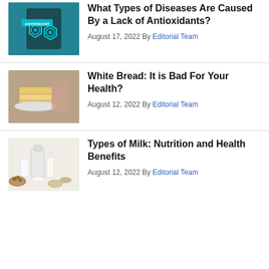[Figure (photo): Antioxidant themed image with glowing icons and a person in teal background]
What Types of Diseases Are Caused By a Lack of Antioxidants?
August 17, 2022 By Editorial Team
[Figure (photo): Woman pushing away white bread slices on a plate]
White Bread: It is Bad For Your Health?
August 12, 2022 By Editorial Team
[Figure (photo): Various types of milk in jars and bottles with nuts and grains]
Types of Milk: Nutrition and Health Benefits
August 12, 2022 By Editorial Team